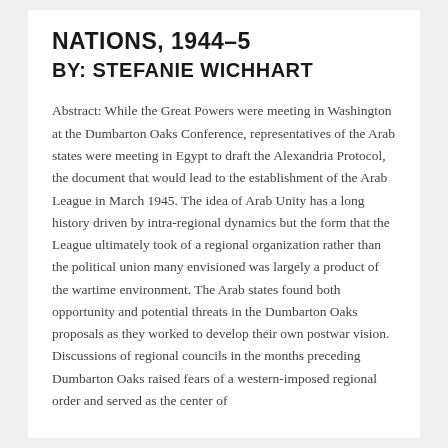NATIONS, 1944–5
BY: STEFANIE WICHHART
Abstract: While the Great Powers were meeting in Washington at the Dumbarton Oaks Conference, representatives of the Arab states were meeting in Egypt to draft the Alexandria Protocol, the document that would lead to the establishment of the Arab League in March 1945. The idea of Arab Unity has a long history driven by intra-regional dynamics but the form that the League ultimately took of a regional organization rather than the political union many envisioned was largely a product of the wartime environment. The Arab states found both opportunity and potential threats in the Dumbarton Oaks proposals as they worked to develop their own postwar vision. Discussions of regional councils in the months preceding Dumbarton Oaks raised fears of a western-imposed regional order and served as the center of